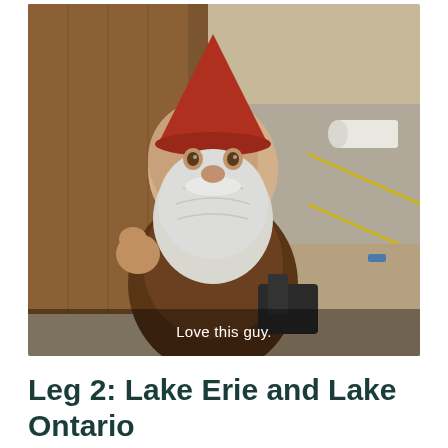[Figure (photo): A garden gnome statue with a red pointed hat, white beard, and brown clothing, photographed up close leaning against a wooden surface. In the background is a parking lot with yellow lines and a white propane tank. A subtitle overlay reads 'Love this guy.']
Love this guy.
Leg 2: Lake Erie and Lake Ontario